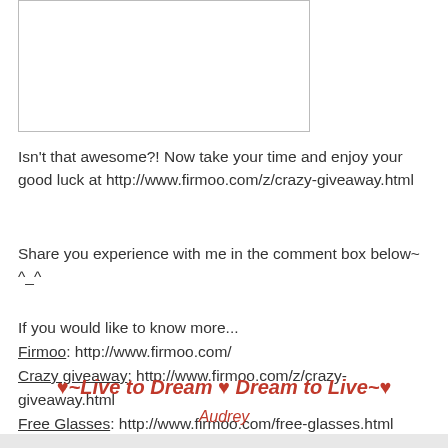[Figure (other): A rectangular bordered box (image placeholder)]
Isn't that awesome?! Now take your time and enjoy your good luck at http://www.firmoo.com/z/crazy-giveaway.html
Share you experience with me in the comment box below~ ^_^
If you would like to know more...
Firmoo: http://www.firmoo.com/
Crazy giveaway: http://www.firmoo.com/z/crazy-giveaway.html
Free Glasses: http://www.firmoo.com/free-glasses.html
♥~Live to Dream ♥ Dream to Live~♥
Audrey